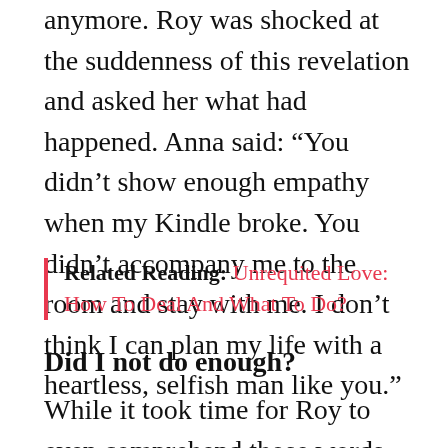anymore. Roy was shocked at the suddenness of this revelation and asked her what had happened. Anna said: “You didn’t show enough empathy when my Kindle broke. You didn’t accompany me to the room and stay with me. I don’t think I can plan my life with a heartless, selfish man like you.”
Related Reading: Unrequited Love: How To Deal And What To Do?
Did I not do enough?
While it took time for Roy to even comprehend those words from Anna, in a way he always seemed stuck on one single question: “How